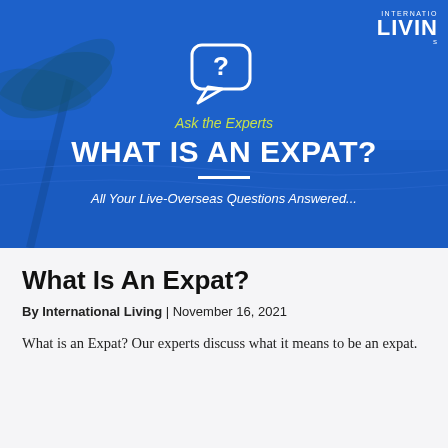[Figure (illustration): Hero banner with blue background showing tropical beach/palm trees. Contains a speech bubble icon with question mark, yellow italic text 'Ask the Experts', large white bold heading 'WHAT IS AN EXPAT?', a white horizontal divider line, and subtitle 'All Your Live-Overseas Questions Answered...' International Living logo in top-right corner.]
What Is An Expat?
By International Living | November 16, 2021
What is an Expat? Our experts discuss what it means to be an expat.